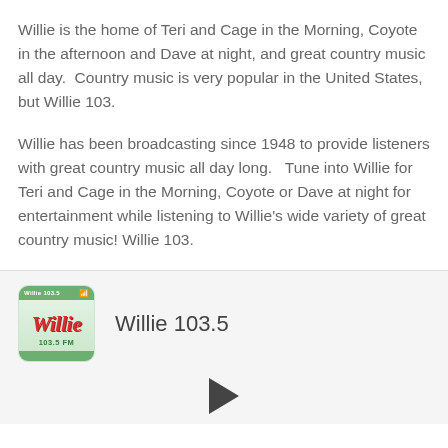Willie is the home of Teri and Cage in the Morning, Coyote in the afternoon and Dave at night, and great country music all day.  Country music is very popular in the United States, but Willie 103.
Willie has been broadcasting since 1948 to provide listeners with great country music all day long.   Tune into Willie for Teri and Cage in the Morning, Coyote or Dave at night for entertainment while listening to Willie's wide variety of great country music! Willie 103.
[Figure (logo): Willie 103.5 radio station logo — red stylized 'Willie' text on green and white background]
Willie 103.5
[Figure (other): Play button triangle icon]